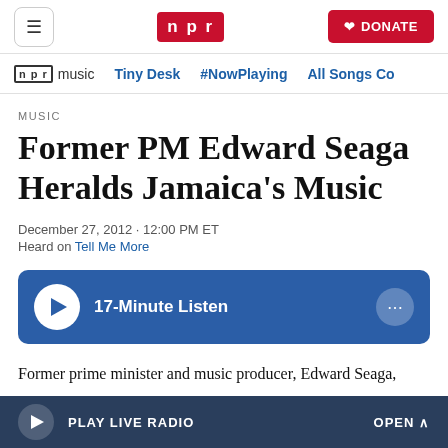NPR — DONATE
npr music  Tiny Desk  #NowPlaying  All Songs Co
MUSIC
Former PM Edward Seaga Heralds Jamaica's Music
December 27, 2012 · 12:00 PM ET
Heard on Tell Me More
[Figure (other): 17-Minute Listen audio player button with play icon and more options button]
Former prime minister and music producer, Edward Seaga,
PLAY LIVE RADIO   OPEN